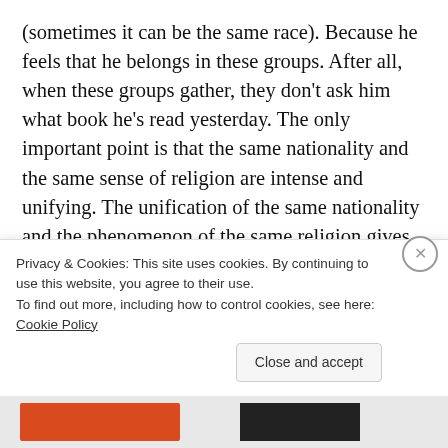(sometimes it can be the same race). Because he feels that he belongs in these groups. After all, when these groups gather, they don't ask him what book he's read yesterday. The only important point is that the same nationality and the same sense of religion are intense and unifying. The unification of the same nationality and the phenomenon of the same religion gives that person the power to relax him/herself.
Cookie banner: Privacy & Cookies: This site uses cookies. By continuing to use this website, you agree to their use. To find out more, including how to control cookies, see here: Cookie Policy. Close and accept.